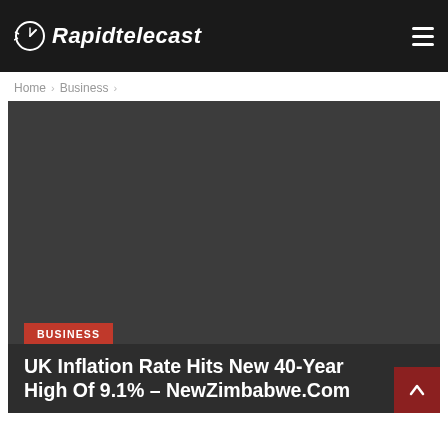Rapidtelecast
Home > Business >
[Figure (photo): Dark grey placeholder image area for news article hero image]
UK Inflation Rate Hits New 40-Year High Of 9.1% – NewZimbabwe.Com